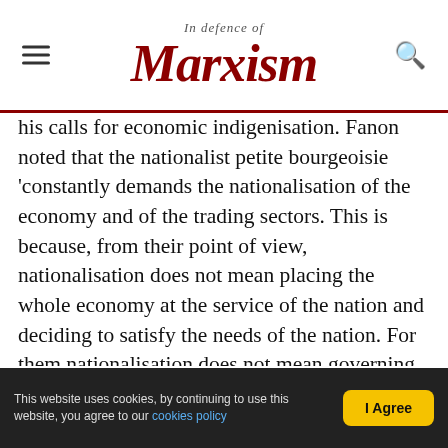In Defence of Marxism
his calls for economic indigenisation. Fanon noted that the nationalist petite bourgeoisie 'constantly demands the nationalisation of the economy and of the trading sectors. This is because, from their point of view, nationalisation does not mean placing the whole economy at the service of the nation and deciding to satisfy the needs of the nation. For them nationalisation does not mean governing the state with regard to the few social relations whose growth it has been decided to encourage. To them, nationalisation quite simply means the transfer into native (petit bourgeois) hands those unfair advantages which on the basis of the colonial…
This website uses cookies, by continuing to use this website, you agree to our cookies policy | I Agree